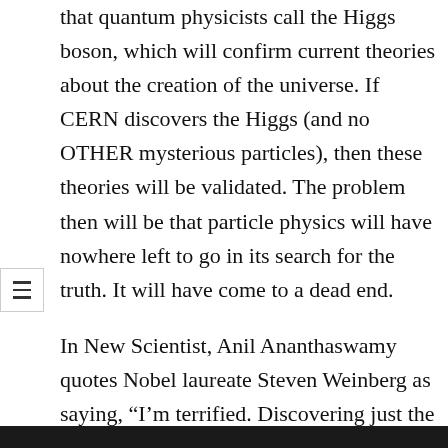that quantum physicists call the Higgs boson, which will confirm current theories about the creation of the universe. If CERN discovers the Higgs (and no OTHER mysterious particles), then these theories will be validated. The problem then will be that particle physics will have nowhere left to go in its search for the truth. It will have come to a dead end.
In New Scientist, Anil Ananthaswamy quotes Nobel laureate Steven Weinberg as saying, “I’m terrified. Discovering just the Higgs would really be a crisis.”
Birds are attacking CERN as well: An owl that pecked at a piece of bread dropped (by a bird-loving scientist?) on an external power supply, causing a short circuit that shut down part of the experiment. Physorg.com quotes CERN spokespeople as saying, “The bird escaped unharmed but lost its bread.”